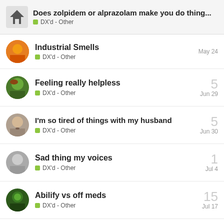Does zolpidem or alprazolam make you do thing... DX'd - Other
Industrial Smells | DX'd - Other | May 24
Feeling really helpless | DX'd - Other | Jun 29 | 5
I'm so tired of things with my husband | DX'd - Other | Jun 30 | 5
Sad thing my voices | DX'd - Other | Jul 4 | 1
Abilify vs off meds | DX'd - Other | Jul 17 | 15
Want to read more? Browse other topics in DX'd - Other or view latest topics.